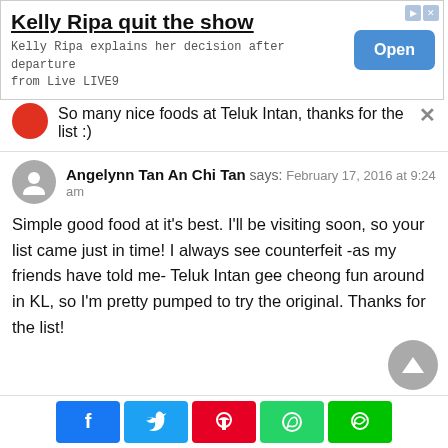[Figure (screenshot): Advertisement banner: 'Kelly Ripa quit the show' with subtitle 'Kelly Ripa explains her decision after departure from Live LIVE9' and a blue Open button]
So many nice foods at Teluk Intan, thanks for the list :)
Angelynn Tan An Chi Tan says: February 17, 2016 at 9:24 am
Simple good food at it's best. I'll be visiting soon, so your list came just in time! I always see counterfeit -as my friends have told me- Teluk Intan gee cheong fun around in KL, so I'm pretty pumped to try the original. Thanks for the list!
[Figure (infographic): Social share buttons: Facebook, Twitter, Pinterest, WhatsApp, LINE]